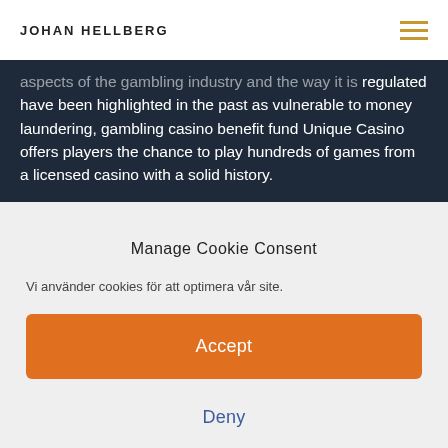JOHAN HELLBERG
aspects of the gambling industry and the way it is regulated have been highlighted in the past as vulnerable to money laundering, gambling casino benefit fund Unique Casino offers players the chance to play hundreds of games from a licensed casino with a solid history.
Manage Cookie Consent
Vi använder cookies för att optimera vår site.
Accept
Deny
Inställningar